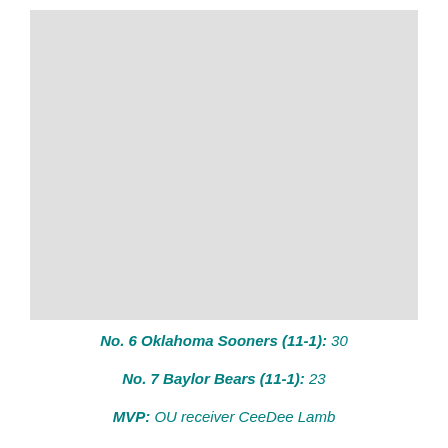[Figure (photo): Gray placeholder image representing a photograph, likely of a football game or related event.]
No. 6 Oklahoma Sooners (11-1): 30
No. 7 Baylor Bears (11-1): 23
MVP: OU receiver CeeDee Lamb